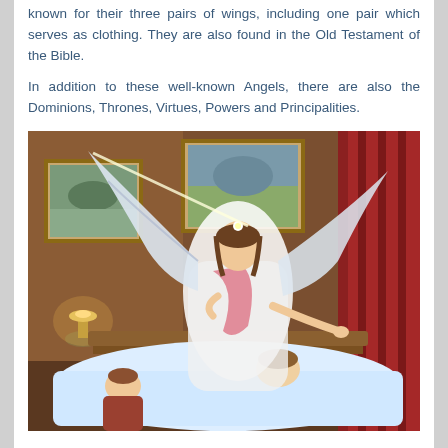known for their three pairs of wings, including one pair which serves as clothing. They are also found in the Old Testament of the Bible.
In addition to these well-known Angels, there are also the Dominions, Thrones, Virtues, Powers and Principalities.
[Figure (illustration): A vintage illustration of a guardian angel with large white wings, wearing a white and pink dress, hovering over a bed where a young child sleeps. Another child kneels beside the bed. The scene is set in a warmly lit bedroom with paintings on the wall and a lamp in the background. Red curtains are visible on the right side.]